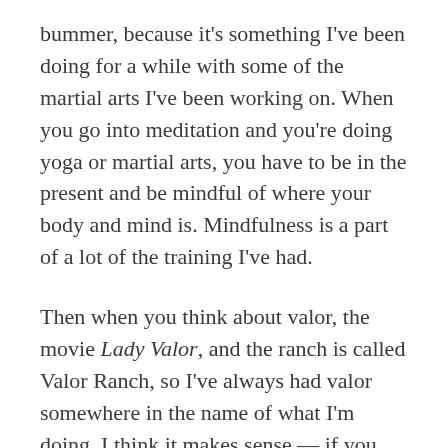bummer, because it's something I've been doing for a while with some of the martial arts I've been working on. When you go into meditation and you're doing yoga or martial arts, you have to be in the present and be mindful of where your body and mind is. Mindfulness is a part of a lot of the training I've had.
Then when you think about valor, the movie Lady Valor, and the ranch is called Valor Ranch, so I've always had valor somewhere in the name of what I'm doing. I think it makes sense — if you have PTSD, valor is something you can identify with because it's a military term about service and putting yourself forward. If you can be mindful about it, put those two things together: mindful valor. If I can be mindful about all the trauma and